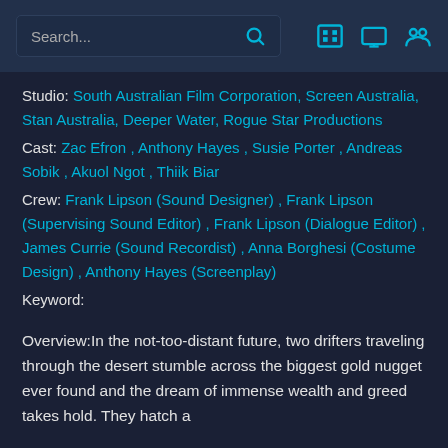Search... [search icon] [film icon] [monitor icon] [people icon]
Studio: South Australian Film Corporation, Screen Australia, Stan Australia, Deeper Water, Rogue Star Productions
Cast: Zac Efron , Anthony Hayes , Susie Porter , Andreas Sobik , Akuol Ngot , Thiik Biar
Crew: Frank Lipson (Sound Designer) , Frank Lipson (Supervising Sound Editor) , Frank Lipson (Dialogue Editor) , James Currie (Sound Recordist) , Anna Borghesi (Costume Design) , Anthony Hayes (Screenplay)
Keyword:
Overview:In the not-too-distant future, two drifters traveling through the desert stumble across the biggest gold nugget ever found and the dream of immense wealth and greed takes hold. They hatch a